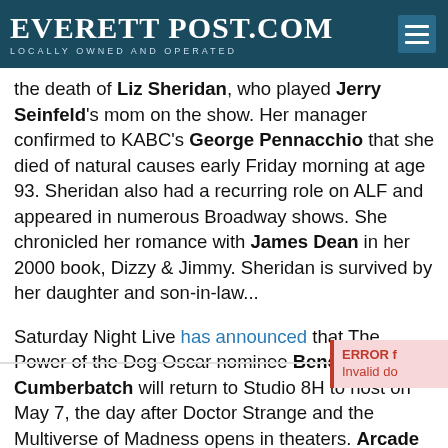EVERETT POST.COM — LOCALLY OWNED AND OPERATED
the death of Liz Sheridan, who played Jerry Seinfeld's mom on the show. Her manager confirmed to KABC's George Pennacchio that she died of natural causes early Friday morning at age 93. Sheridan also had a recurring role on ALF and appeared in numerous Broadway shows. She chronicled her romance with James Dean in her 2000 book, Dizzy & Jimmy. Sheridan is survived by her daughter and son-in-law...
Saturday Night Live has announced that The Power of the Dog Oscar nominee Benedict Cumberbatch will return to Studio 8H to host on May 7, the day after Doctor Strange and the Multiverse of Madness opens in theaters. Arcade Fire will be the musical guest, their sixth turn on the long-running sketch show...
Netflix and DreamWorks Animation have a new trailer to another entry in the Boss Baby franchise. Once-